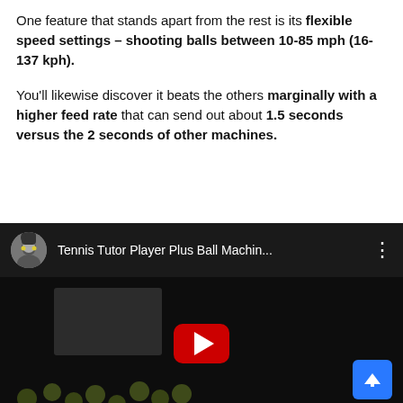One feature that stands apart from the rest is its flexible speed settings – shooting balls between 10-85 mph (16-137 kph).
You'll likewise discover it beats the others marginally with a higher feed rate that can send out about 1.5 seconds versus the 2 seconds of other machines.
[Figure (screenshot): YouTube video thumbnail showing 'Tennis Tutor Player Plus Ball Machin...' with a YouTube play button and tennis balls in a dark background. A blue scroll-to-top button is visible in the bottom right.]